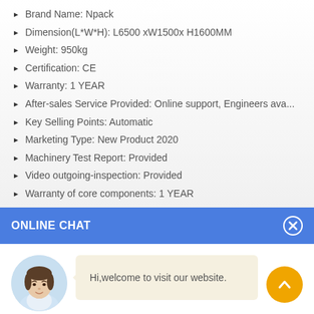Brand Name: Npack
Dimension(L*W*H): L6500 xW1500x H1600MM
Weight: 950kg
Certification: CE
Warranty: 1 YEAR
After-sales Service Provided: Online support, Engineers ava...
Key Selling Points: Automatic
Marketing Type: New Product 2020
Machinery Test Report: Provided
Video outgoing-inspection: Provided
Warranty of core components: 1 YEAR
Core Components: PLC
ONLINE CHAT
[Figure (illustration): Chat widget with avatar photo of a woman named Cilina and a welcome message bubble saying 'Hi,welcome to visit our website.' with an orange scroll-up button]
Cilina
Hi,welcome to visit our website.